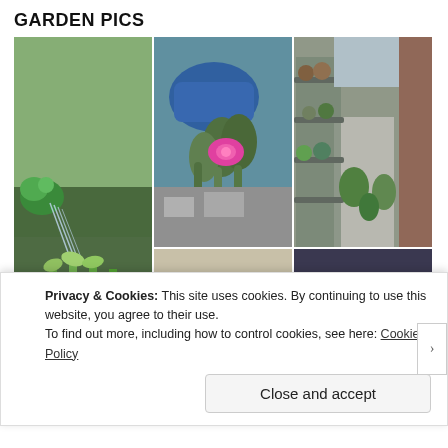GARDEN PICS
[Figure (photo): Grid of 6 garden photographs: watering seedlings, cactus with pink flower, narrow alley with plant shelves, cauliflower/coral on table, fire escape with plants, brick wall garden bed]
Privacy & Cookies: This site uses cookies. By continuing to use this website, you agree to their use.
To find out more, including how to control cookies, see here: Cookie Policy
Close and accept